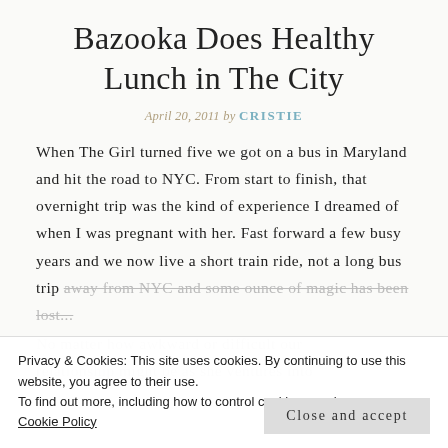Bazooka Does Healthy Lunch in The City
April 20, 2011 by CRISTIE
When The Girl turned five we got on a bus in Maryland and hit the road to NYC. From start to finish, that overnight trip was the kind of experience I dreamed of when I was pregnant with her. Fast forward a few busy years and we now live a short train ride, not a long bus trip away from NYC and some ounce of magic has been lost...
No matter how awkward or difficult our relationship might be as she ventures into
Privacy & Cookies: This site uses cookies. By continuing to use this website, you agree to their use. To find out more, including how to control cookies, see here: Cookie Policy
Close and accept